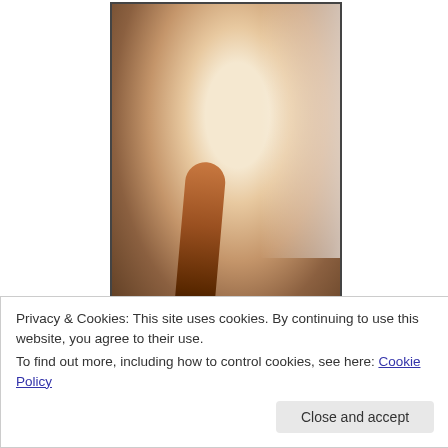[Figure (photo): A woman with blonde and reddish-brown braided hair, photographed in a selfie style, looking at the camera with a slight smile. Bright backlighting on the right side.]
Privacy & Cookies: This site uses cookies. By continuing to use this website, you agree to their use.
To find out more, including how to control cookies, see here: Cookie Policy
Close and accept
published works include a warm family series, a goddess